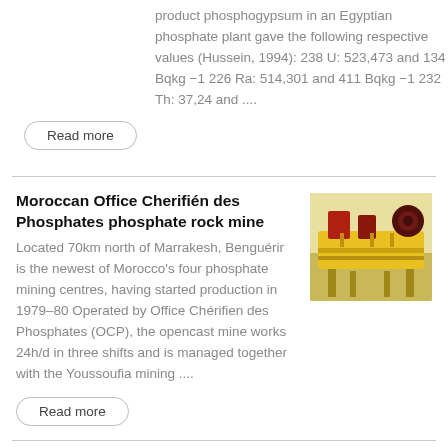product phosphogypsum in an Egyptian phosphate plant gave the following respective values (Hussein, 1994): 238 U: 523,473 and 134 Bqkg −1 226 Ra: 514,301 and 411 Bqkg −1 232 Th: 37,24 and ....
Read more
Moroccan Office Cherifién des Phosphates phosphate rock mine
Located 70km north of Marrakesh, Benguérir is the newest of Morocco's four phosphate mining centres, having started production in 1979–80 Operated by Office Chérifien des Phosphates (OCP), the opencast mine works 24h/d in three shifts and is managed together with the Youssoufia mining ....
[Figure (photo): Photo of industrial mining machinery — yellow and red metal equipment, likely a crusher or conveyor, in an industrial setting.]
Read more